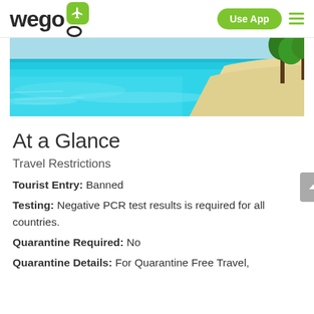wego | Use App
[Figure (photo): Beach scene with turquoise water, sandy shore, and palm trees]
At a Glance
Travel Restrictions
Tourist Entry: Banned
Testing: Negative PCR test results is required for all countries.
Quarantine Required: No
Quarantine Details: For Quarantine Free Travel,